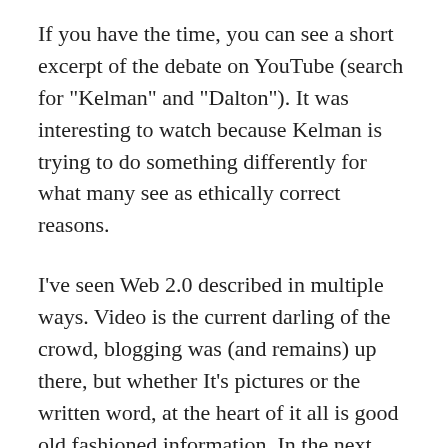If you have the time, you can see a short excerpt of the debate on YouTube (search for "Kelman" and "Dalton"). It was interesting to watch because Kelman is trying to do something differently for what many see as ethically correct reasons.
I've seen Web 2.0 described in multiple ways. Video is the current darling of the crowd, blogging was (and remains) up there, but whether It's pictures or the written word, at the heart of it all is good old fashioned information. In the next few years, any company looking to lead the real estate industry will need to evaluate how that information is used along with the valuable people skills that some are now leaving out of the total equation.
Changing the subject totally so that we finish on